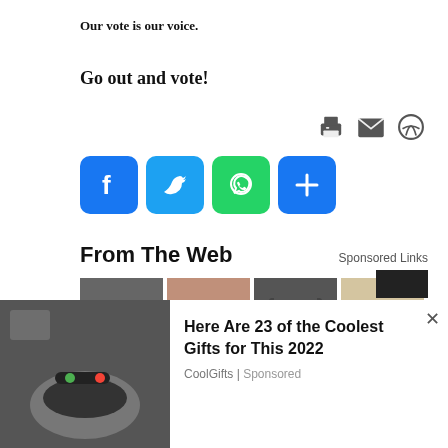Our vote is our voice.
Go out and vote!
[Figure (illustration): Social share buttons: Facebook (blue), Twitter (blue), WhatsApp (green), Share (blue plus icon)]
From The Web
Sponsored Links
[Figure (photo): Four advertisement images: smart ring on foot, hands touching belly, car hood, foot/skin treatment]
Here Are 23 of the Cooles... CoolGifts
The Initial Red Fl... Breast Cancer | Search Ads
Ashburn : Unsold Never-... SUV | Search Ads
Early Signs and of... Psoriatic Arthritis |
[Figure (photo): Popup ad: Here Are 23 of the Coolest Gifts for This 2022, CoolGifts | Sponsored, with image of smart ring on foot]